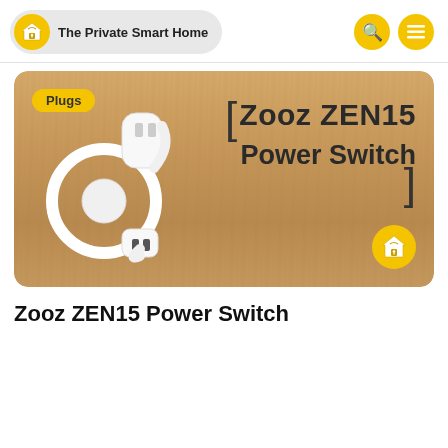The Private Smart Home
[Figure (photo): Zooz ZEN15 Power Switch product photo on a wood-grain background with 'Plugs' badge in yellow and text overlay reading 'Zooz ZEN15 Power Switch' with bracket styling, plus site logo watermark in bottom right corner]
Zooz ZEN15 Power Switch